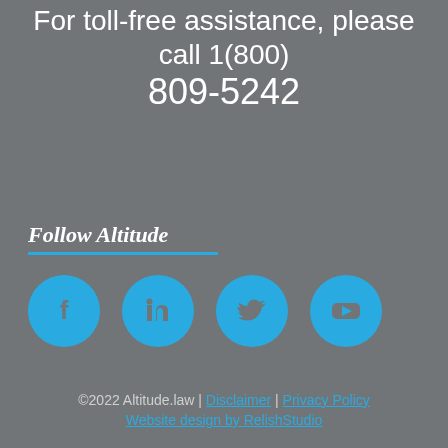For toll-free assistance, please call 1(800) 809-5242
Follow Altitude
[Figure (other): Four social media icons (Facebook, LinkedIn, Twitter, YouTube) as cyan circular buttons on grey background]
©2022 Altitude.law | Disclaimer | Privacy Policy
Website design by RelishStudio